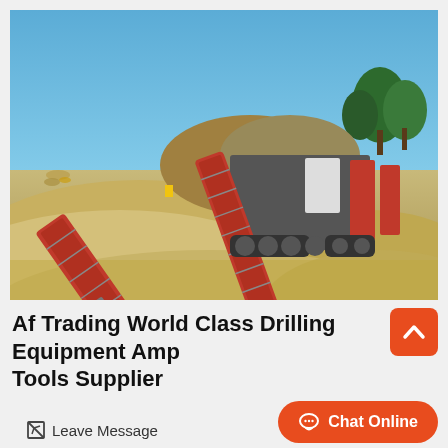[Figure (photo): Outdoor industrial scene showing large red and grey mobile screening/conveyor machinery on a construction or mining site. Large piles of gravel/sand in the foreground, trees and blue sky in the background.]
Af Trading World Class Drilling Equipment Amp Tools Supplier
Leave Message
Chat Online